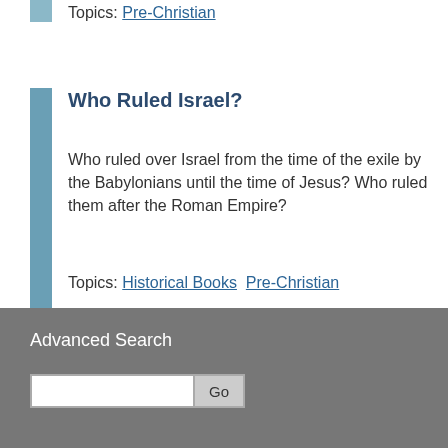Topics: Pre-Christian
Who Ruled Israel?
Who ruled over Israel from the time of the exile by the Babylonians until the time of Jesus? Who ruled them after the Roman Empire?
Topics: Historical Books  Pre-Christian
Advanced Search